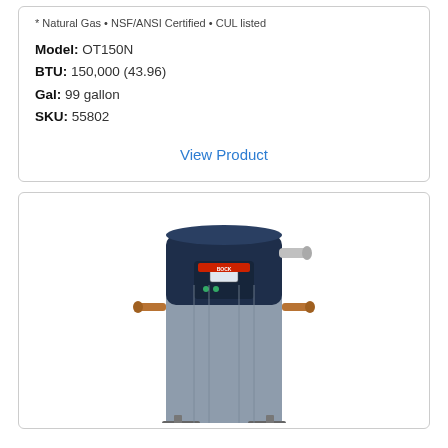* Natural Gas • NSF/ANSI Certified • CUL listed
Model: OT150N
BTU: 150,000 (43.96)
Gal: 99 gallon
SKU: 55802
View Product
[Figure (photo): Commercial water heater unit - tall cylindrical tank with dark navy blue top section featuring controls and display panel, gray lower tank body, with pipe connections on the sides and anchor brackets at bottom.]